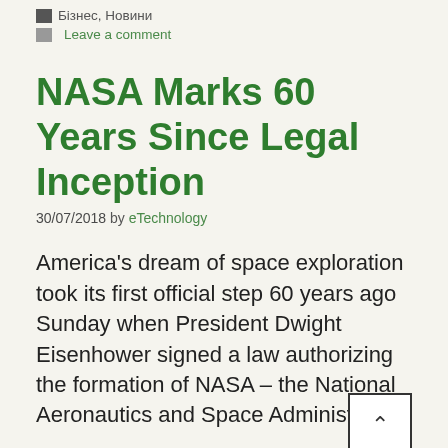Бізнес, Новини
Leave a comment
NASA Marks 60 Years Since Legal Inception
30/07/2018 by eTechnology
America's dream of space exploration took its first official step 60 years ago Sunday when President Dwight Eisenhower signed a law authorizing the formation of NASA – the National Aeronautics and Space Administration
Although humanity had been staring at